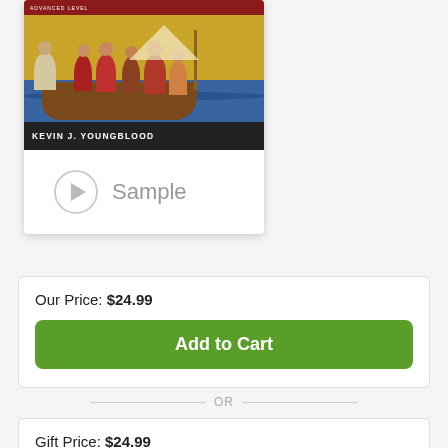[Figure (illustration): Book cover for a biblical studies title by Kevin J. Youngblood, showing a medieval illustration of figures in a boat on water, with a red 'Advanced Level' bar at top and dark author name bar at bottom.]
▶ Sample
Our Price: $24.99
Add to Cart
OR
Gift Price: $24.99